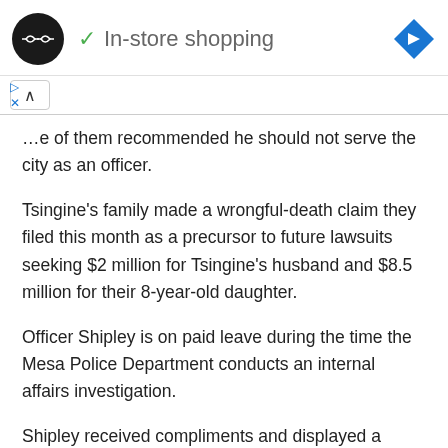[Figure (screenshot): Ad banner with circular black logo showing double arrow icon, green checkmark, text 'In-store shopping', and blue diamond navigation icon on right]
e of them recommended he should not serve the city as an officer.
Tsingine’s family made a wrongful-death claim they filed this month as a precursor to future lawsuits seeking $2 million for Tsingine’s husband and $8.5 million for their 8-year-old daughter.
Officer Shipley is on paid leave during the time the Mesa Police Department conducts an internal affairs investigation.
Shipley received compliments and displayed a